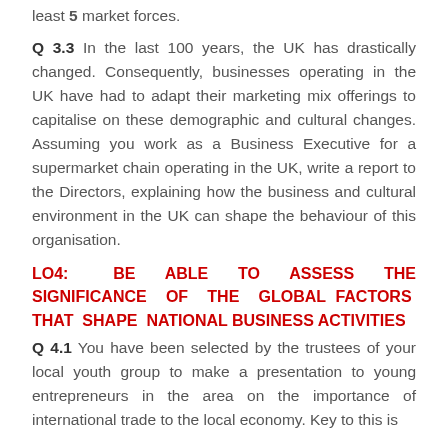least 5 market forces.
Q 3.3 In the last 100 years, the UK has drastically changed. Consequently, businesses operating in the UK have had to adapt their marketing mix offerings to capitalise on these demographic and cultural changes. Assuming you work as a Business Executive for a supermarket chain operating in the UK, write a report to the Directors, explaining how the business and cultural environment in the UK can shape the behaviour of this organisation.
LO4: BE ABLE TO ASSESS THE SIGNIFICANCE OF THE GLOBAL FACTORS THAT SHAPE NATIONAL BUSINESS ACTIVITIES
Q 4.1 You have been selected by the trustees of your local youth group to make a presentation to young entrepreneurs in the area on the importance of international trade to the local economy. Key to this is